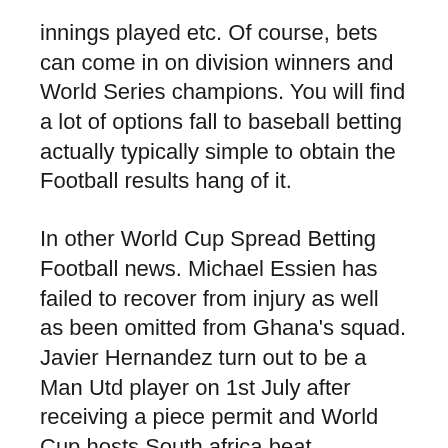innings played etc. Of course, bets can come in on division winners and World Series champions. You will find a lot of options fall to baseball betting actually typically simple to obtain the Football results hang of it.
In other World Cup Spread Betting Football news. Michael Essien has failed to recover from injury as well as been omitted from Ghana's squad. Javier Hernandez turn out to be a Man Utd player on 1st July after receiving a piece permit and World Cup hosts South africa beat Colombia 2-1 from a friendly at the Soccer City stadium.
With both that occurring in mind of the art student, how could schools ever think of taking Art out for this curriculum? Yet